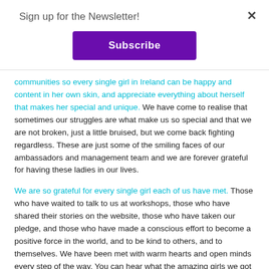Sign up for the Newsletter!
[Figure (other): Subscribe button - purple rectangle with white bold text 'Subscribe']
communities so every single girl in Ireland can be happy and content in her own skin, and appreciate everything about herself that makes her special and unique. We have come to realise that sometimes our struggles are what make us so special and that we are not broken, just a little bruised, but we come back fighting regardless. These are just some of the smiling faces of our ambassadors and management team and we are forever grateful for having these ladies in our lives.
We are so grateful for every single girl each of us have met. Those who have waited to talk to us at workshops, those who have shared their stories on the website, those who have taken our pledge, and those who have made a conscious effort to become a positive force in the world, and to be kind to others, and to themselves. We have been met with warm hearts and open minds every step of the way. You can hear what the amazing girls we got